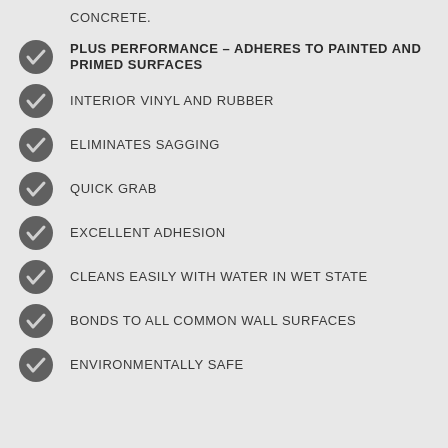CONCRETE.
PLUS PERFORMANCE – ADHERES TO PAINTED AND PRIMED SURFACES
INTERIOR VINYL AND RUBBER
ELIMINATES SAGGING
QUICK GRAB
EXCELLENT ADHESION
CLEANS EASILY WITH WATER IN WET STATE
BONDS TO ALL COMMON WALL SURFACES
ENVIRONMENTALLY SAFE